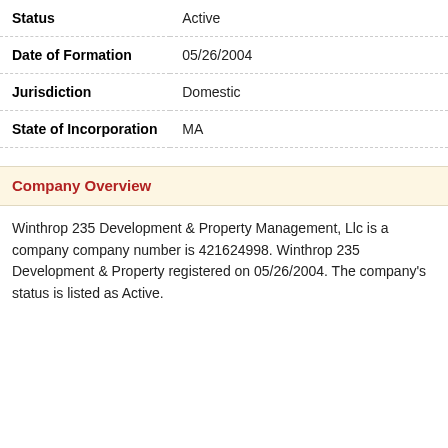| Field | Value |
| --- | --- |
| Status | Active |
| Date of Formation | 05/26/2004 |
| Jurisdiction | Domestic |
| State of Incorporation | MA |
Company Overview
Winthrop 235 Development & Property Management, Llc is a company company number is 421624998. Winthrop 235 Development & Property registered on 05/26/2004. The company's status is listed as Active.